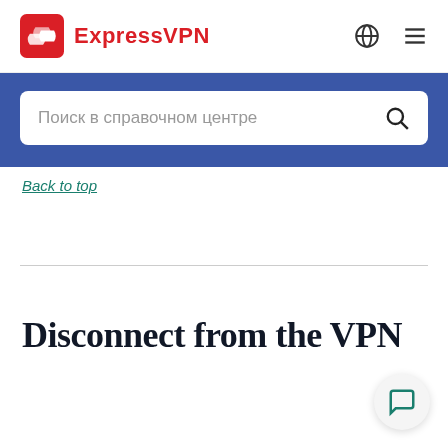ExpressVPN
[Figure (screenshot): Search bar with Russian placeholder text 'Поиск в справочном центре' on a blue background banner]
Back to top
Disconnect from the VPN